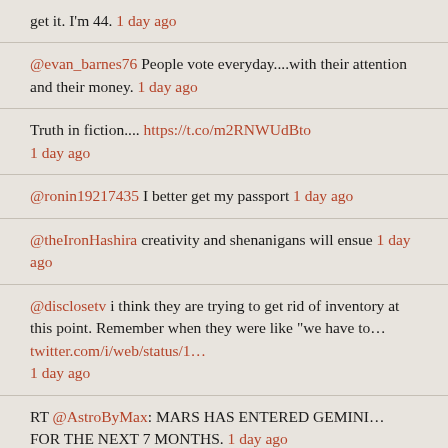get it. I'm 44. 1 day ago
@evan_barnes76 People vote everyday....with their attention and their money. 1 day ago
Truth in fiction.... https://t.co/m2RNWUdBto 1 day ago
@ronin19217435 I better get my passport 1 day ago
@theIronHashira creativity and shenanigans will ensue 1 day ago
@disclosetv i think they are trying to get rid of inventory at this point. Remember when they were like "we have to... twitter.com/i/web/status/1... 1 day ago
RT @AstroByMax: MARS HAS ENTERED GEMINI... FOR THE NEXT 7 MONTHS. 1 day ago
I used to want to be on the original Dynasty as Dominique's son.... #Confessions